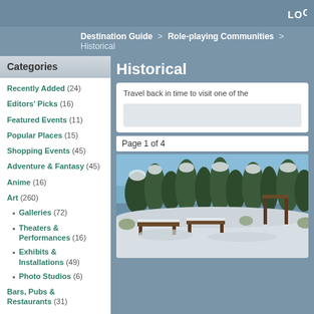LOG
Destination Guide > Role-playing Communities > Historical
Categories
Recently Added (24)
Editors' Picks (16)
Featured Events (11)
Popular Places (15)
Shopping Events (45)
Adventure & Fantasy (45)
Anime (16)
Art (260)
Galleries (72)
Theaters & Performances (16)
Exhibits & Installations (49)
Photo Studios (6)
Bars, Pubs & Restaurants (31)
Beaches (67)
Historical
Travel back in time to visit one of the
Page 1 of 4
[Figure (photo): Snow-covered outdoor scene with wooden benches/structures, trees in background against blue sky]